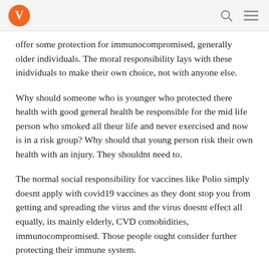V [logo] [search icon] [menu icon]
offer some protection for immunocompromised, generally older individuals. The moral responsibility lays with these inidviduals to make their own choice, not with anyone else.
Why should someone who is younger who protected there health with good general health be responsible for the mid life person who smoked all theur life and never exercised and now is in a risk group? Why should that young person risk their own health with an injury. They shouldnt need to.
The normal social responsibility for vaccines like Polio simply doesnt apply with covid19 vaccines as they dont stop you from getting and spreading the virus and the virus doesnt effect all equally, its mainly elderly, CVD comobidities, immunocompromised. Those people ought consider further protecting their immune system.